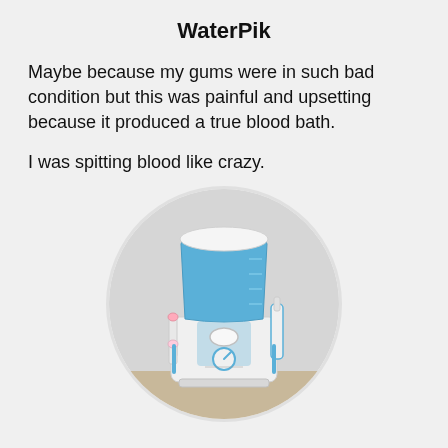WaterPik
Maybe because my gums were in such bad condition but this was painful and upsetting because it produced a true blood bath.
I was spitting blood like crazy.
[Figure (photo): A WaterPik water flosser device shown in a circular frame. The device is white and blue with a water reservoir on top, a power button, a pressure dial, and a nozzle holder on the side.]